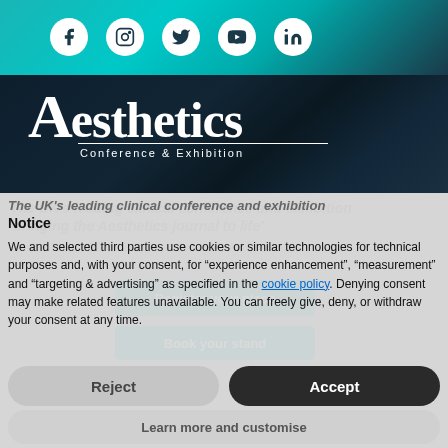[Figure (logo): Social media icons: Facebook, Instagram, Twitter, YouTube, LinkedIn in white circles on teal background]
[Figure (logo): Aesthetics Conference & Exhibition logo in white text on dark navy background]
The UK's leading clinical conference and exhibition bringing the Aesthetics journal to life
Notice
We and selected third parties use cookies or similar technologies for technical purposes and, with your consent, for “experience enhancement”, “measurement” and “targeting & advertising” as specified in the cookie policy. Denying consent may make related features unavailable. You can freely give, deny, or withdraw your consent at any time.
Reject
Accept
Learn more and customise